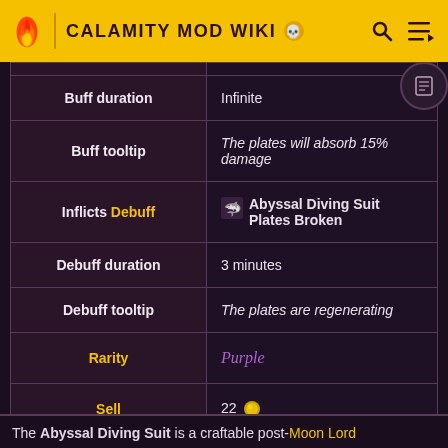CALAMITY MOD WIKI
| Property | Value |
| --- | --- |
| Buff duration | Infinite |
| Buff tooltip | The plates will absorb 15% damage |
| Inflicts Debuff | Abyssal Diving Suit Plates Broken |
| Debuff duration | 3 minutes |
| Debuff tooltip | The plates are regenerating |
| Rarity | Purple |
| Sell | 22 (gold coin) |
The Abyssal Diving Suit is a craftable post-Moon Lord